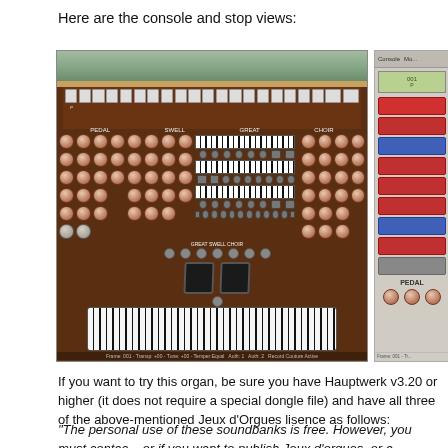Here are the console and stop views:
[Figure (screenshot): Screenshot of a Hauptwerk virtual pipe organ console view showing keyboard manuals (SWELL, GREAT, CHOIR), pedal board, and circular stop knobs on both sides, with a decorative floral background at the top. Status bar at bottom reads: Frame: 001 - Transp: +00 - Tune: +00 - Temper:Equal - Auth: 1 - Auth: 2 - Record Couture Active]
[Figure (screenshot): Partial screenshot of Hauptwerk stop list panel showing colored stop buttons and PEDAL section with circular knobs. Status bar at bottom reads: Frame: 001 - Tr...]
If you want to try this organ, be sure you have Hauptwerk v3.20 or higher (it does not require a special dongle file) and have all three of the above-mentioned Jeux d'Orgues lisence as follows:
"The personal use of these soundbanks is free. However, you must contact us if you want to publish Jeux d'orgues, or a modified version of Jeux d'orgues. This soundbank still is and will remain free, but don't forget that most simil